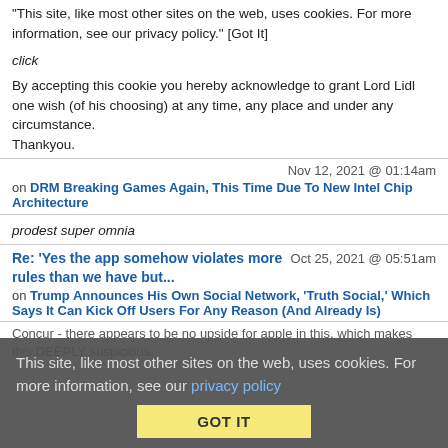"This site, like most other sites on the web, uses cookies. For more information, see our privacy policy." [Got It]
click
By accepting this cookie you hereby acknowledge to grant Lord Lidl one wish (of his choosing) at any time, any place and under any circumstance.
Thankyou.
Nov 12, 2021 @ 01:14am
on DRM Breaking Games Again, This Time Due To New Intel Chip Architecture
prodest super omnia
Re: 'Yes the app somehow violates more rules than we have but...   Oct 25, 2021 @ 05:51am
on Trump Announces His Own Social Network, 'Truth Social,' Which Says It Can Kick Off Users For Any Reason (And Already Is)
Concur - there appears to be no upside for apple in this, which makes this DEEPLY suspicious.
This site, like most other sites on the web, uses cookies. For more information, see our privacy policy   GOT IT